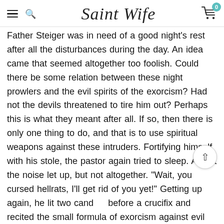Saint Wife
Father Steiger was in need of a good night's rest after all the disturbances during the day. An idea came that seemed altogether too foolish. Could there be some relation between these night prowlers and the evil spirits of the exorcism? Had not the devils threatened to tire him out? Perhaps this is what they meant after all. If so, then there is only one thing to do, and that is to use spiritual weapons against these intruders. Fortifying himself with his stole, the pastor again tried to sleep. At last the noise let up, but not altogether. "Wait, you cursed hellrats, I'll get rid of you yet!" Getting up again, he lit two candles before a crucifix and recited the small formula of exorcism against evil spirits. Aha! That was the language these hellrats understand. They took to flight and all was quiet. They seemed to have been spirited, blown off now, although all previous thumping and pounding on the